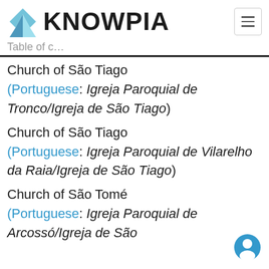KNOWPIA
Table of contents (TOC label)
Church of São Tiago (Portuguese: Igreja Paroquial de Tronco/Igreja de São Tiago)
Church of São Tiago (Portuguese: Igreja Paroquial de Vilarelho da Raia/Igreja de São Tiago)
Church of São Tomé (Portuguese: Igreja Paroquial de Arcossó/Igreja de São Tomé)